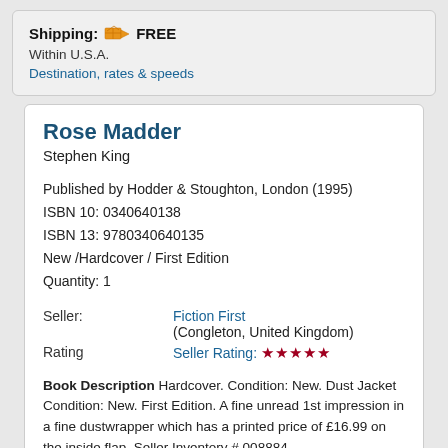Shipping: FREE
Within U.S.A.
Destination, rates & speeds
Rose Madder
Stephen King
Published by Hodder & Stoughton, London (1995)
ISBN 10: 0340640138
ISBN 13: 9780780340640135
New /Hardcover / First Edition
Quantity: 1
|  |  |
| --- | --- |
| Seller: | Fiction First
(Congleton, United Kingdom) |
| Rating | Seller Rating: ★★★★★ |
Book Description Hardcover. Condition: New. Dust Jacket Condition: New. First Edition. A fine unread 1st impression in a fine dustwrapper which has a printed price of £16.99 on the inside flap. Seller Inventory # 008884
More information about this seller | Contact this seller